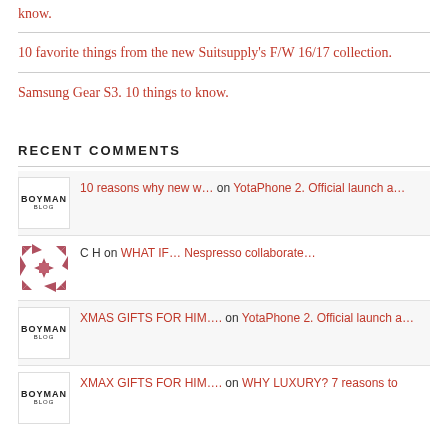know.
10 favorite things from the new Suitsupply's F/W 16/17 collection.
Samsung Gear S3. 10 things to know.
RECENT COMMENTS
10 reasons why new w… on YotaPhone 2. Official launch a…
C H on WHAT IF… Nespresso collaborate…
XMAS GIFTS FOR HIM…. on YotaPhone 2. Official launch a…
XMAX GIFTS FOR HIM…. on WHY LUXURY? 7 reasons to